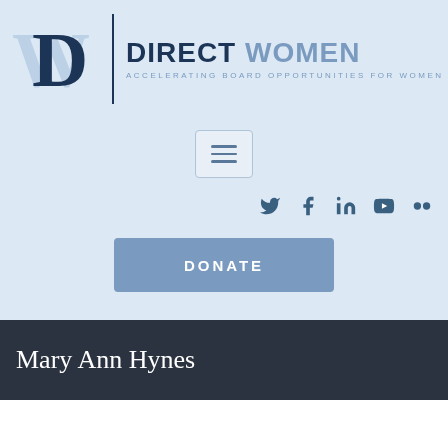[Figure (logo): Direct Women logo with stylized W and D lettermark, vertical divider, bold text 'DIRECT WOMEN' and subtitle 'ACCELERATING BOARD OPPORTUNITIES FOR WOMEN']
[Figure (other): Hamburger menu button with three horizontal lines]
[Figure (other): Social media icons row: Twitter, Facebook, LinkedIn, YouTube, Flickr]
[Figure (other): DONATE button in steel blue]
Mary Ann Hynes